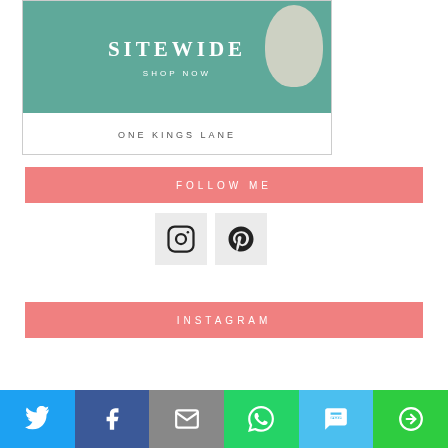[Figure (advertisement): One Kings Lane advertisement showing 'SITEWIDE' text and 'SHOP NOW' over a teal water background with a white balloon/hat shape, and 'ONE KINGS LANE' label below]
FOLLOW ME
[Figure (infographic): Instagram and Pinterest social media icon buttons in grey square boxes]
INSTAGRAM
[Figure (infographic): Share bar with Twitter (blue), Facebook (dark blue), Email (grey), WhatsApp (green), SMS (light blue), and More (green) buttons]